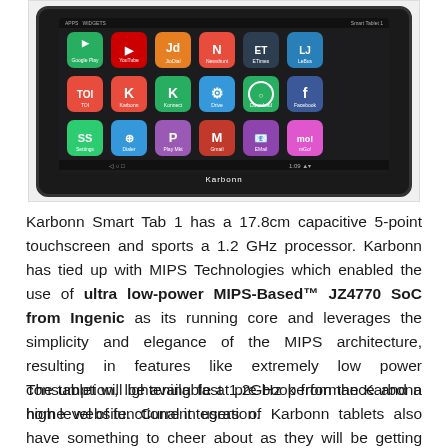[Figure (photo): Karbonn Smart Tab 1 tablet device showing Android home screen with app icons grid including Google Play, YouTube, JioChat, Newshunt, ET, LeBus, TOI, Karbonn apps, and others. The tablet is shown in landscape orientation with a black border and 'Karbonn' branding at bottom.]
Karbonn Smart Tab 1 has a 17.8cm capacitive 5-point touchscreen and sports a 1.2 GHz processor. Karbonn has tied up with MIPS Technologies which enabled the use of ultra low-power MIPS-Based™ JZ4770 SoC from Ingenic as its running core and leverages the simplicity and elegance of the MIPS architecture, resulting in features like extremely low power consumption, lightening fast 1.2GHz performance and a high level of functional integration.
The tablet will be available at pre-book from the Karbonn home website. Current users of Karbonn tablets also have something to cheer about as they will be getting free upgrade from Android 4.0.3 Ice Cream Sandwich to Android